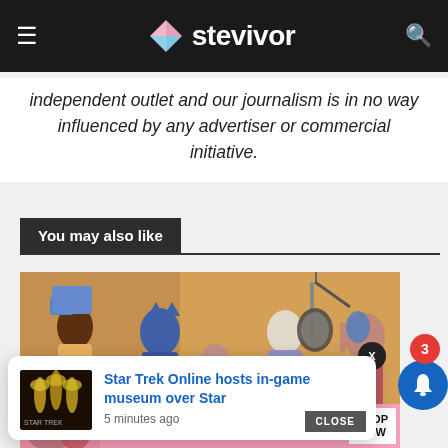stevivor
independent outlet and our journalism is in no way influenced by any advertiser or commercial initiative.
You may also like
[Figure (illustration): Illustrated artwork showing animated characters including a person holding a sign, a cat character, a character at a microphone, and a girl with headphones, with text 'we are' visible. Yellow/warm background.]
Star Trek Online hosts in-game museum over Star
5 minutes ago
[Figure (photo): Small thumbnail showing Star Trek trophies/awards glowing gold against dark background with Star Trek logo text]
[Figure (photo): Advertisement banner for Victoria's Secret showing woman and 'SHOP THE COLLECTION' text on pink background, with SHOP NOW button]